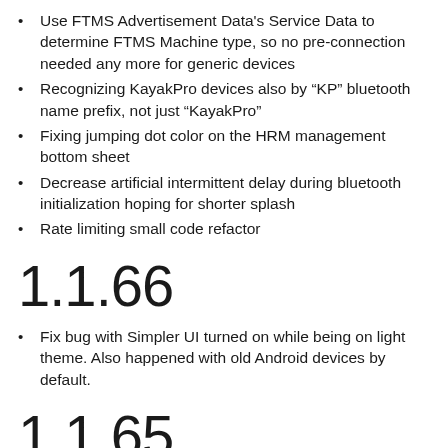Use FTMS Advertisement Data's Service Data to determine FTMS Machine type, so no pre-connection needed any more for generic devices
Recognizing KayakPro devices also by “KP” bluetooth name prefix, not just “KayakPro”
Fixing jumping dot color on the HRM management bottom sheet
Decrease artificial intermittent delay during bluetooth initialization hoping for shorter splash
Rate limiting small code refactor
1.1.66
Fix bug with Simpler UI turned on while being on light theme. Also happened with old Android devices by default.
1.1.65